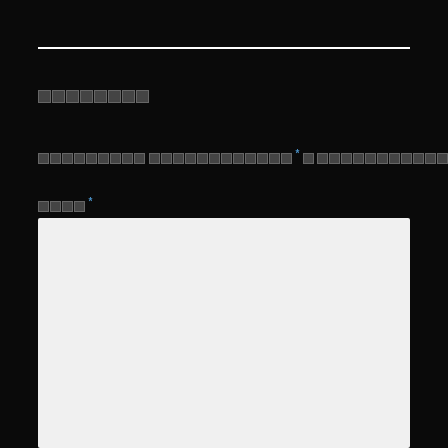▪▪▪▪▪▪▪▪
▪▪▪▪▪▪▪▪▪ xxxxxxxxxxxxxxxxx * x ▪▪▪▪▪▪▪▪▪▪▪▪▪
▪▪▪▪ *
[Figure (other): White/light gray box area]